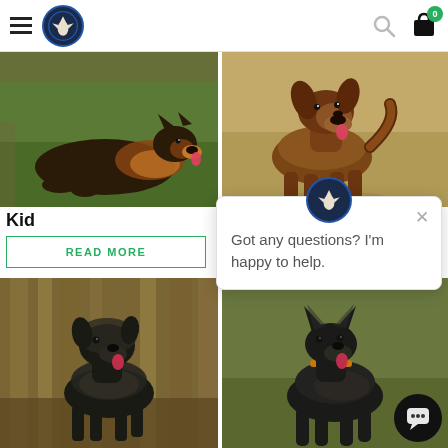Navigation header with hamburger menu, logo, search icon, and cart (0 items)
[Figure (photo): German Shepherd dog lying on green grass with tongue out]
[Figure (photo): German Shepherd dog standing on dry grass, side view with tongue out]
Kid
Lola
READ MORE
[Figure (photo): Dark brindle dog standing among trees with tongue out]
[Figure (photo): Dark colored dog standing on grass with tongue out]
[Figure (other): Chat popup with logo icon and text: Got any questions? I'm happy to help. With close X button and chat bubble button at bottom right.]